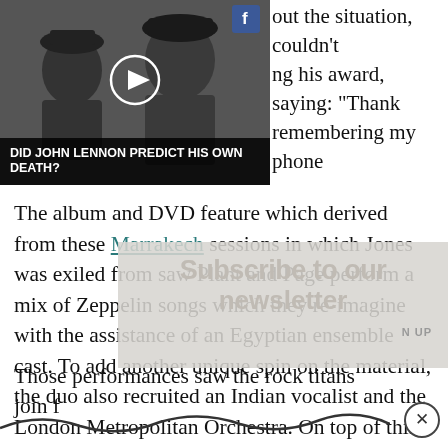[Figure (screenshot): Black and white video thumbnail showing two people (Yoko Ono and John Lennon). Overlaid title text reads 'DID JOHN LENNON PREDICT HIS OWN DEATH?']
out the situation, couldn't ng his award, saying: “Thank remembering my phone
The album and DVD feature which derived from these Marrakech sessions in which Jones was exiled from saw Plant and Page perform a mix of Zeppelin songs which they re-imagine with the assistance of an Egyptian ensemble cast. To add another unique spin on the material, the duo also recruited an Indian vocalist and the London Metropolitan Orchestra. On top of this, the pair recorded a trio of new songs with local musicians in the Moroccan capital.
Those performances saw the rock titans join f